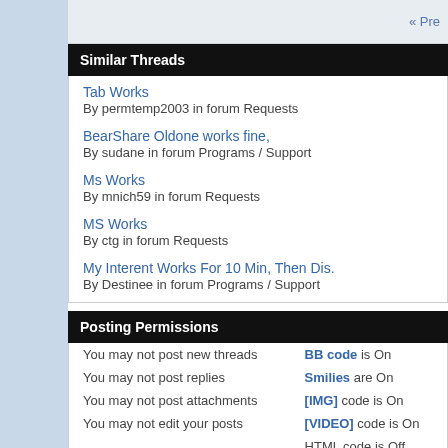« Pre
Similar Threads
Tab Works
By permtemp2003 in forum Requests
BearShare Oldone works fine,
By sudane in forum Programs / Support
Ms Works
By mnich59 in forum Requests
MS Works
By ctg in forum Requests
My Interent Works For 10 Min, Then Dis.
By Destinee in forum Programs / Support
Posting Permissions
|  |  |
| --- | --- |
| You may not post new threads | BB code is On |
| You may not post replies | Smilies are On |
| You may not post attachments | [IMG] code is On |
| You may not edit your posts | [VIDEO] code is On |
|  | HTML code is Off |
Forum Rules